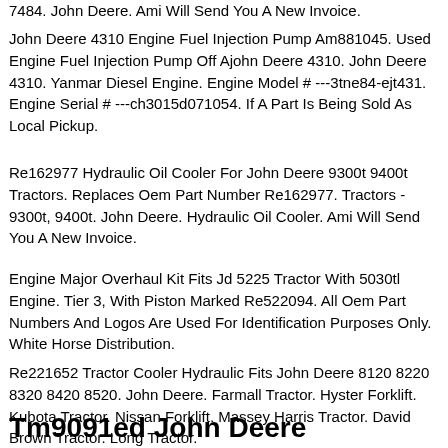7484. John Deere. Ami Will Send You A New Invoice.
John Deere 4310 Engine Fuel Injection Pump Am881045. Used Engine Fuel Injection Pump Off Ajohn Deere 4310. John Deere 4310. Yanmar Diesel Engine. Engine Model # ---3tne84-ejt431. Engine Serial # ---ch3015d071054. If A Part Is Being Sold As Local Pickup.
Re162977 Hydraulic Oil Cooler For John Deere 9300t 9400t Tractors. Replaces Oem Part Number Re162977. Tractors - 9300t, 9400t. John Deere. Hydraulic Oil Cooler. Ami Will Send You A New Invoice.
Engine Major Overhaul Kit Fits Jd 5225 Tractor With 5030tl Engine. Tier 3, With Piston Marked Re522094. All Oem Part Numbers And Logos Are Used For Identification Purposes Only. White Horse Distribution.
Re221652 Tractor Cooler Hydraulic Fits John Deere 8120 8220 8320 8420 8520. John Deere. Farmall Tractor. Hyster Forklift. Kubota Tractor. Nissan Forklift. Massey Harris Tractor. David Brown Tractor. Long Tractor.
Tm9091ed John Deere